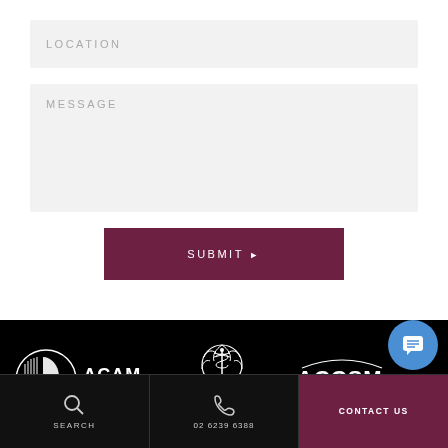[Figure (screenshot): LOCATION input field - grey background form field with placeholder text LOCATION in uppercase light grey letters]
[Figure (screenshot): MESSAGE textarea - grey background form field with placeholder text MESSAGE in uppercase light grey letters, taller than location field]
[Figure (screenshot): SUBMIT button - dark maroon/burgundy rectangular button with white uppercase text SUBMIT and right-pointing arrow]
[Figure (logo): ACAM - Australasian College of Aesthetic Medicine logo: circular white icon with face profile and ACAM text in white on black background]
[Figure (logo): Cosmetic Physicians College logo: white emblem with caduceus/medical symbol surrounded by wreath, with text COSMETIC PHYSICIANS COLLEGE below]
[Figure (logo): ACCSM - Australasian College of Cosmetic Surgery and Medicine logo in white on black background]
SEARCH | 02 6239 6388 | CONTACT US